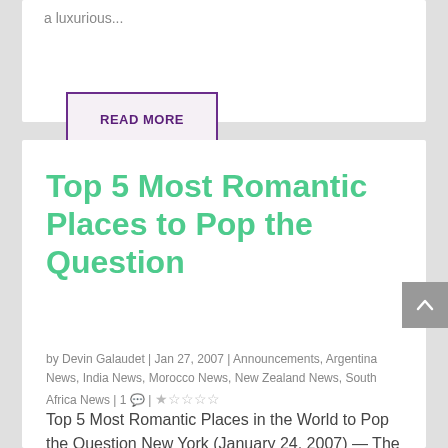a luxurious...
READ MORE
Top 5 Most Romantic Places to Pop the Question
by Devin Galaudet | Jan 27, 2007 | Announcements, Argentina News, India News, Morocco News, New Zealand News, South Africa News | 1 ● | ★★★★★
Top 5 Most Romantic Places in the World to Pop the Question New York (January 24, 2007) — The luxury travel experts at Absolute Travel have